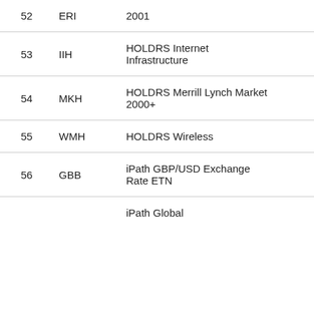| # | Ticker | Name | Value |
| --- | --- | --- | --- |
| 52 | ERI | ... 2001 | 12.42 |
| 53 | IIH | HOLDRS Internet Infrastructure | 138.1 |
| 54 | MKH | HOLDRS Merrill Lynch Market 2000+ | 131.9 |
| 55 | WMH | HOLDRS Wireless | 129.8 |
| 56 | GBB | iPath GBP/USD Exchange Rate ETN | 50.4 |
| 57 |  | iPath Global |  |